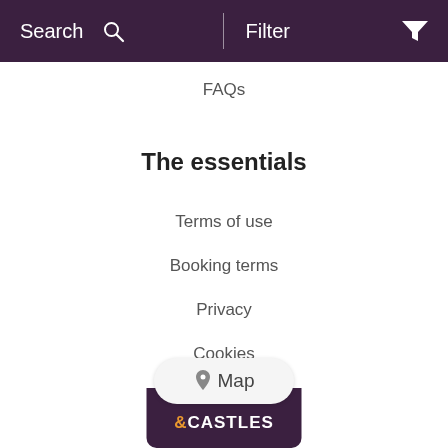Search   Filter
FAQs
The essentials
Terms of use
Booking terms
Privacy
Cookies
Sitemap
[Figure (screenshot): Map button with location pin icon and &CASTLES logo below it]